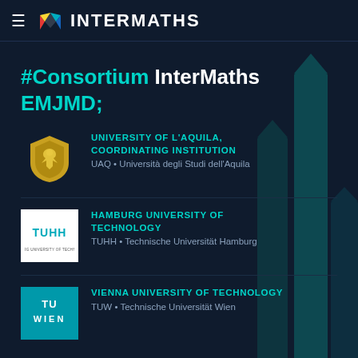InterMaths
#Consortium InterMaths EMJMD;
UNIVERSITY OF L'AQUILA, COORDINATING INSTITUTION
UAQ • Università degli Studi dell'Aquila
HAMBURG UNIVERSITY OF TECHNOLOGY
TUHH • Technische Universität Hamburg
VIENNA UNIVERSITY OF TECHNOLOGY
TUW • Technische Universität Wien